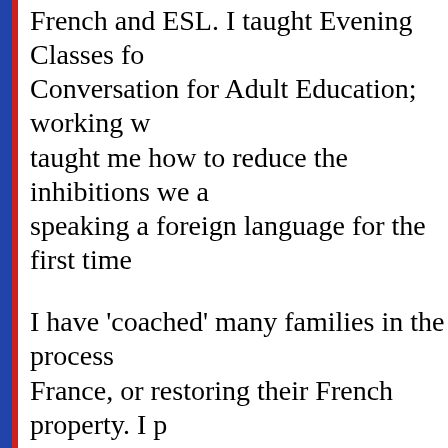French and ESL. I taught Evening Classes for Conversation for Adult Education; working with them taught me how to reduce the inhibitions we all feel speaking a foreign language for the first time.
I have 'coached' many families in the process of moving to France, or restoring their French property. I prepare for the (usually underestimated) cultural shift by focusing on the specific areas for which they will need good language skills as well as insight of the regional culture they will live in; this paves the way for a smoother cultural...
For advanced learners, it is assumed that they are highly motivated, so I focus on pronunciation, contemporary vocabulary and idiomatic structures, complex tenses, while discussing current affairs and literature. The watchword here is : du travai...